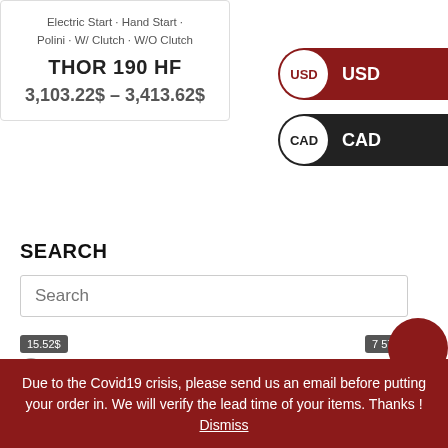Electric Start · Hand Start · Polini · W/ Clutch · W/O Clutch
THOR 190 HF
3,103.22$ – 3,413.62$
[Figure (other): USD currency selection button (red background, selected)]
[Figure (other): CAD currency selection button (dark background)]
SEARCH
Search (input field placeholder)
Price range slider from 15.52 to 7 572.98, with markers at 15.52, 1 905, 3 794, 5 684, 7 577
Due to the Covid19 crisis, please send us an email before putting your order in. We will verify the lead time of your items. Thanks ! Dismiss